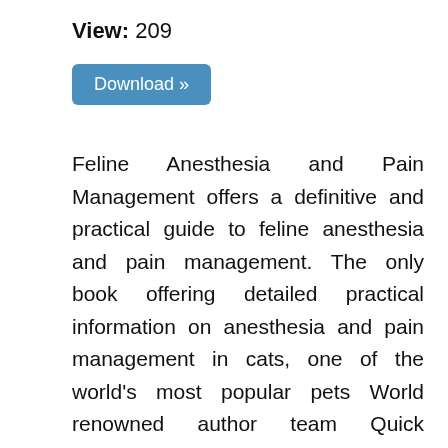View: 209
Download »
Feline Anesthesia and Pain Management offers a definitive and practical guide to feline anesthesia and pain management. The only book offering detailed practical information on anesthesia and pain management in cats, one of the world's most popular pets World renowned author team Quick reference format with full color illustrations Offers detailed practical information on anesthesia and pain management tailored to the unique needs of cats Includes a team of world-renowned authors who are experts in veterinary anesthesia and analgesia Uses a quick